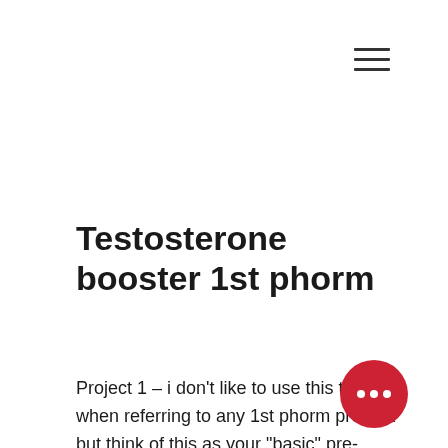[Figure (other): Hamburger menu icon — three horizontal lines stacked]
Testosterone booster 1st phorm
Project 1 – i don't like to use this term when referring to any 1st phorm product but think of this as your "basic" pre-workout supplement. In general, most of the testosterone boosters will start delivering the results in the first two weeks. Testosterone booster results after one. Primal-t is a testosterone booster manufactured by phorm. It ranks 214 out of 270 testosterone